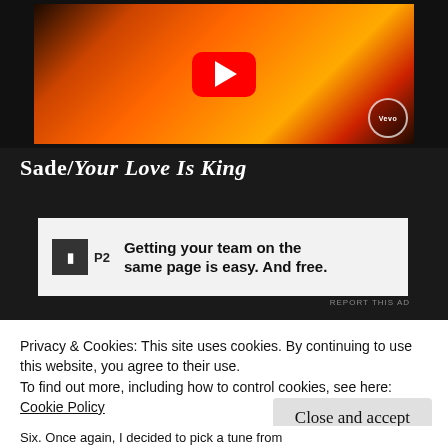[Figure (screenshot): YouTube video thumbnail showing a Sade music video with orange/red abstract art and a YouTube play button overlay, with a Vevo badge in the bottom right corner]
Sade/Your Love Is King
[Figure (screenshot): Advertisement for P2 product: 'Getting your team on the same page is easy. And free.' with P2 logo icon]
REPORT THIS AD
Privacy & Cookies: This site uses cookies. By continuing to use this website, you agree to their use.
To find out more, including how to control cookies, see here:
Cookie Policy
Close and accept
Six. Once again, I decided to pick a tune from